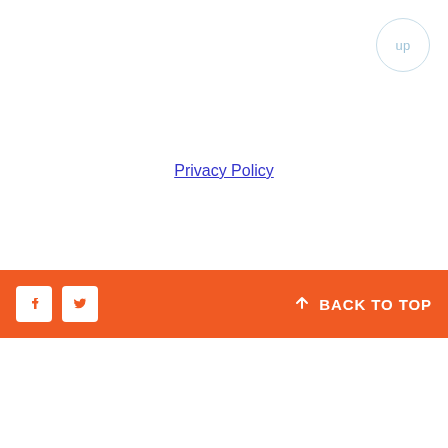up
Privacy Policy
Facebook  Twitter  ↑ BACK TO TOP